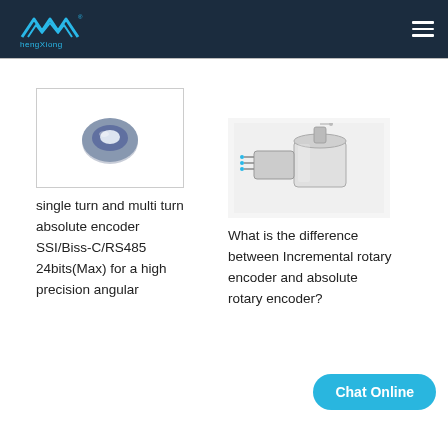hengXiong navigation bar with logo and hamburger menu
[Figure (photo): Small circular ring-shaped absolute encoder component, metallic silver/blue, viewed from above, inside a white bordered image box]
single turn and multi turn absolute encoder SSI/Biss-C/RS485 24bits(Max) for a high precision angular
[Figure (photo): Incremental rotary encoder component, cylindrical metallic silver body with shaft and wires, partial disassembly view]
What is the difference between Incremental rotary encoder and absolute rotary encoder?